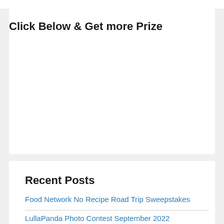Click Below & Get more Prize
Recent Posts
Food Network No Recipe Road Trip Sweepstakes
LullaPanda Photo Contest September 2022